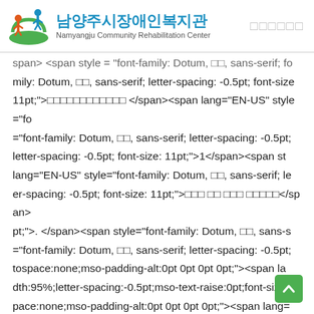남양주시장애인복지관 Namyangju Community Rehabilitation Center
span> <span style="font-family: Dotum, 굴림, sans-serif; letter-spacing: -0.5pt; font-size: 11pt;">귀중한시간을내어주셔서감사합니다 </span><span lang="EN-US" style="font-family: Dotum, 굴림, sans-serif; letter-spacing: -0.5pt; letter-spacing: -0.5pt; font-size: 11pt;">1</span><span style="lang="EN-US" style="font-family: Dotum, 굴림, sans-serif; le er-spacing: -0.5pt; font-size: 11pt;">저는 이 연구 결과를 통하여</span><span> pt;">. </span><span style="font-family: Dotum, 굴림, sans-s ="font-family: Dotum, 굴림, sans-serif; letter-spacing: -0.5pt; tospace:none;mso-padding-alt:0pt 0pt 0pt 0pt;"><span la dth:95%;letter-spacing:-0.5pt;mso-text-raise:0pt;font-size pace:none;mso-padding-alt:0pt 0pt 0pt 0pt;"><span lang= ></p><p class="0" style="line-height:180%;mso natio